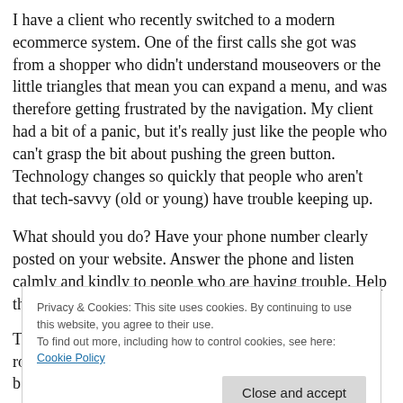I have a client who recently switched to a modern ecommerce system. One of the first calls she got was from a shopper who didn't understand mouseovers or the little triangles that mean you can expand a menu, and was therefore getting frustrated by the navigation. My client had a bit of a panic, but it's really just like the people who can't grasp the bit about pushing the green button. Technology changes so quickly that people who aren't that tech-savvy (old or young) have trouble keeping up.
What should you do? Have your phone number clearly posted on your website. Answer the phone and listen calmly and kindly to people who are having trouble. Help them figure it out. Do it for them, if you can.
T ro b
S
Privacy & Cookies: This site uses cookies. By continuing to use this website, you agree to their use.
To find out more, including how to control cookies, see here: Cookie Policy
You might also like